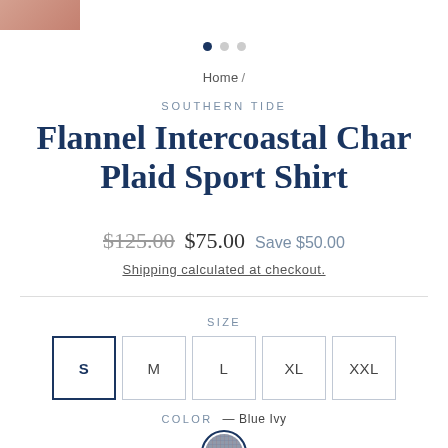[Figure (photo): Partial product image strip at top left corner]
Home /
SOUTHERN TIDE
Flannel Intercoastal Char Plaid Sport Shirt
$125.00  $75.00  Save $50.00
Shipping calculated at checkout.
SIZE
S  M  L  XL  XXL
COLOR — Blue Ivy